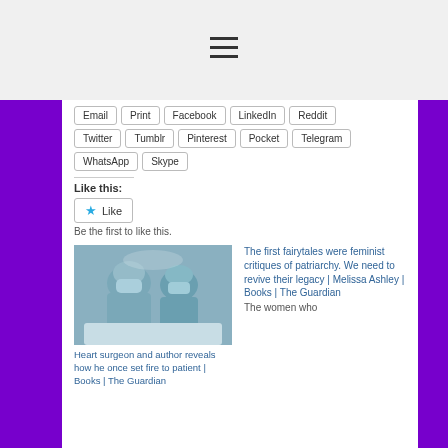[Figure (other): Hamburger menu icon (three horizontal lines)]
Email
Print
Facebook
LinkedIn
Reddit
Twitter
Tumblr
Pinterest
Pocket
Telegram
WhatsApp
Skype
Like this:
Like
Be the first to like this.
[Figure (photo): Surgery/operating room photo showing surgeons in scrubs and masks working on a patient]
Heart surgeon and author reveals how he once set fire to patient | Books | The Guardian
The first fairytales were feminist critiques of patriarchy. We need to revive their legacy | Melissa Ashley | Books | The Guardian
The women who